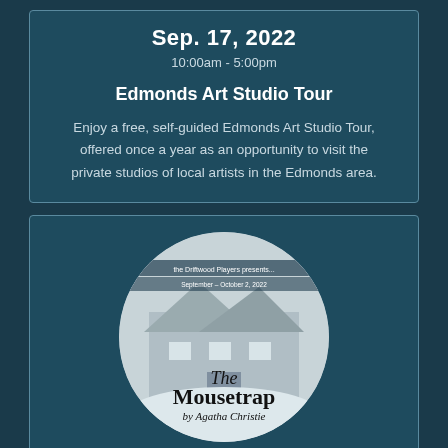Sep. 17, 2022
10:00am - 5:00pm
Edmonds Art Studio Tour
Enjoy a free, self-guided Edmonds Art Studio Tour, offered once a year as an opportunity to visit the private studios of local artists in the Edmonds area.
[Figure (illustration): Circular image showing a stone building/house in winter, with text overlay reading 'The Mousetrap by Agatha Christie' and banner text 'the Driftwood Players presents... September - October 2, 2022']
Sep. 18, 2022